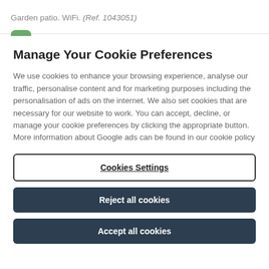Garden patio. WiFi. (Ref. 1043051)
Manage Your Cookie Preferences
We use cookies to enhance your browsing experience, analyse our traffic, personalise content and for marketing purposes including the personalisation of ads on the internet. We also set cookies that are necessary for our website to work. You can accept, decline, or manage your cookie preferences by clicking the appropriate button. More information about Google ads can be found in our cookie policy
Cookies Settings
Reject all cookies
Accept all cookies